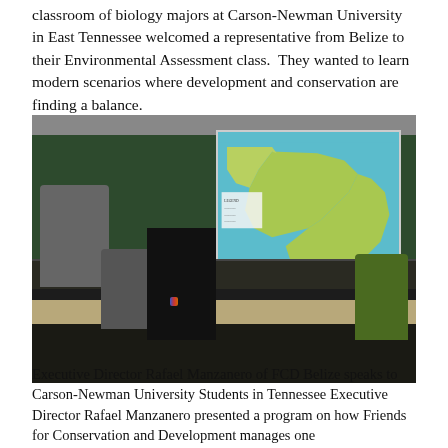classroom of biology majors at Carson-Newman University in East Tennessee welcomed a representative from Belize to their Environmental Assessment class.  They wanted to learn modern scenarios where development and conservation are finding a balance.
[Figure (photo): Classroom photo showing a presenter at the front of a laboratory classroom with a projected map of Central America/Belize on the screen. Several students are seated at lab benches with their backs to the camera.]
Executive Director Rafael Manzanero of FCD Belize speaks to Carson-Newman University Students in Tennessee Executive Director Rafael Manzanero presented a program on how Friends for Conservation and Development manages one